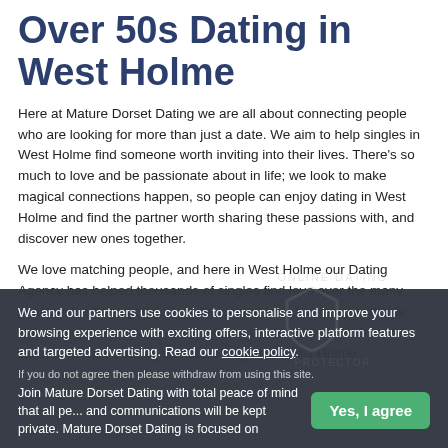Over 50s Dating in West Holme
Here at Mature Dorset Dating we are all about connecting people who are looking for more than just a date. We aim to help singles in West Holme find someone worth inviting into their lives. There's so much to love and be passionate about in life; we look to make magical connections happen, so people can enjoy dating in West Holme and find the partner worth sharing these passions with, and discover new ones together.
We love matching people, and here in West Holme our Dating Agency has helped thousands of singles find love over the many years we've been going. If you're looking for a fun, easy and safe way to meet new people, you've come to the right place. Join free today and start chatting to mature singles in West Holme.
We and our partners use cookies to personalise and improve your browsing experience with exciting offers, interactive platform features and targeted advertising. Read our cookie policy.
If you do not agree then please withdraw from using this site.
Join Mature Dorset Dating with total peace of mind that all pe... and communications will be kept private. Mature Dorset Dating is focused on